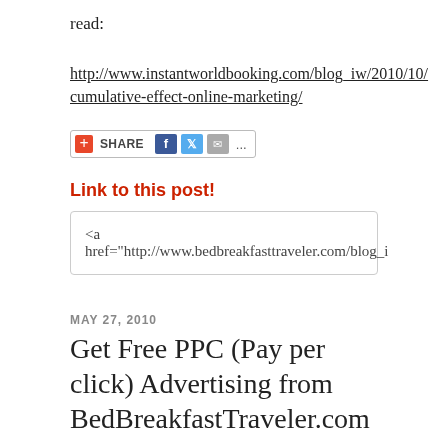read:
http://www.instantworldbooking.com/blog_iw/2010/10/cumulative-effect-online-marketing/
[Figure (other): Share button bar with plus icon, SHARE label, Facebook, Twitter, email, and more icons]
Link to this post!
<a href="http://www.bedbreakfasttraveler.com/blog_i
MAY 27, 2010
Get Free PPC (Pay per click) Advertising from BedBreakfastTraveler.com
BedBreakfastTraveler.com (Instant World Booking) has proven to be very successful in gaining top search engine rankings for its listed bed & breakfast partners.